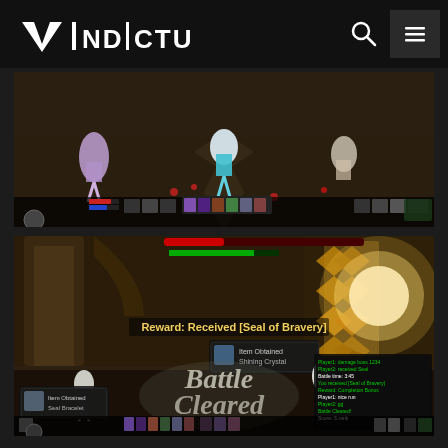VINDICTUS
[Figure (screenshot): Vindictus game screenshot showing characters fighting in an ornate dungeon arena with geometric floor patterns. HUD elements visible at bottom including action bars and minimap.]
[Figure (screenshot): Vindictus game screenshot showing 'Battle Cleared' screen with text 'Reward: Received [Seal of Bravery]'. Characters visible in ornate golden temple-like arena. Chat log visible on right side with green and white text. Item notification boxes visible. Post-battle reward summary panel on right.]